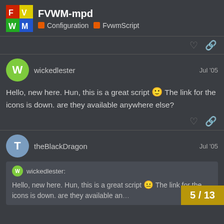FVWM-mpd | Configuration | FvwmScript
wickedlester  Jul '05
Hello, new here. Hun, this is a great script 🙂 The link for the icons is down. are they available anywhere else?
theBlackDragon  Jul '05
wickedlester:
Hello, new here. Hun, this is a great script 🙂 The link for the icons is down. are they available an…
5 / 13